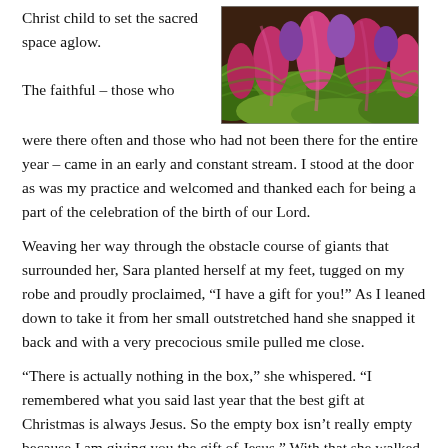Christ child to set the sacred space aglow.
[Figure (photo): Close-up photograph of a knitted or crocheted textile with vibrant green and pink/purple yarn, appearing to show decorative fabric work.]
The faithful – those who were there often and those who had not been there for the entire year – came in an early and constant stream. I stood at the door as was my practice and welcomed and thanked each for being a part of the celebration of the birth of our Lord.
Weaving her way through the obstacle course of giants that surrounded her, Sara planted herself at my feet, tugged on my robe and proudly proclaimed, "I have a gift for you!" As I leaned down to take it from her small outstretched hand she snapped it back and with a very precocious smile pulled me close.
"There is actually nothing in the box," she whispered. "I remembered what you said last year that the best gift at Christmas is always Jesus. So the empty box isn't really empty because I am giving you the gift of Jesus." With that she walked